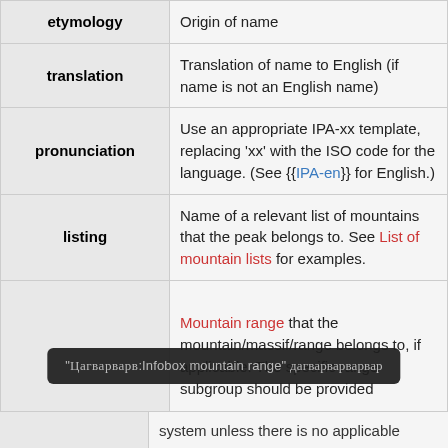| etymology | translation | pronunciation | listing | (range) |
| --- | --- | --- | --- | --- |
| etymology | Origin of name |
| translation | Translation of name to English (if name is not an English name) |
| pronunciation | Use an appropriate IPA-xx template, replacing 'xx' with the ISO code for the language. (See {{IPA-en}} for English.) |
| listing | Name of a relevant list of mountains that the peak belongs to. See List of mountain lists for examples. |
|  | Mountain range that the mountain/massif/range belongs to, if applicable. The specific range subgroup should be provided system unless there is no applicable |